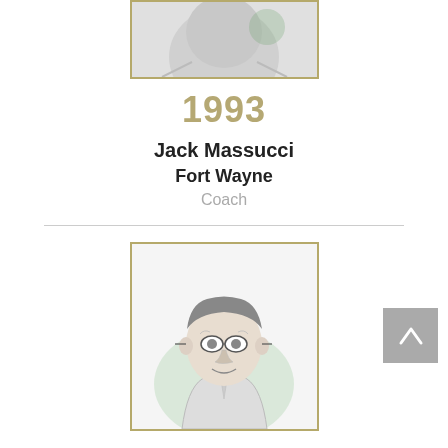[Figure (illustration): Cropped portrait illustration of Jack Massucci, top portion visible, in a gold-bordered frame]
1993
Jack Massucci
Fort Wayne
Coach
[Figure (illustration): Pencil sketch portrait of Harry Geisel, a middle-aged man with glasses and a suit, in a gold-bordered frame]
1993
Harry Geisel
Indianapolis